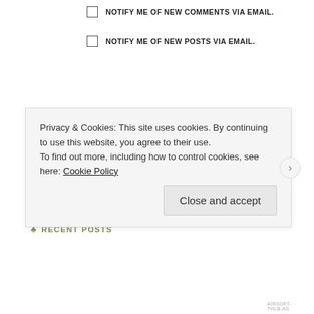NOTIFY ME OF NEW COMMENTS VIA EMAIL.
NOTIFY ME OF NEW POSTS VIA EMAIL.
ARCHIVES
Select Month
[Figure (other): Follow A Musing Amma button with WordPress logo]
RECENT POSTS
Privacy & Cookies: This site uses cookies. By continuing to use this website, you agree to their use. To find out more, including how to control cookies, see here: Cookie Policy
Close and accept
AIRSOFT-THLB.AS